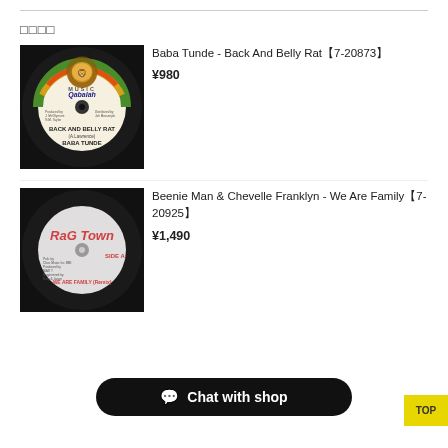□□□□
[Figure (photo): Vinyl record with Qabalah Music label showing BACK AND BELLY RAT by BABA TUNDE]
Baba Tunde - Back And Belly Rat【7-20873】
¥980
[Figure (photo): Vinyl record with RaG Town label showing WE ARE FAMILY (Remix), SIDE A]
Beenie Man & Chevelle Franklyn - We Are Family【7-20925】
¥1,490